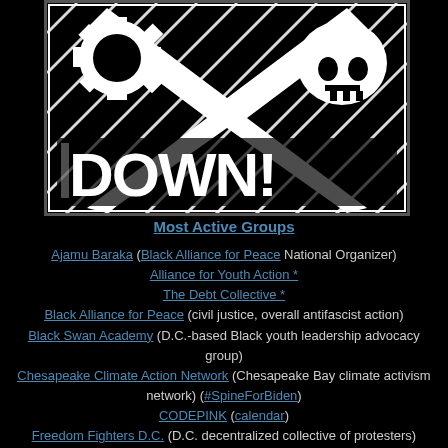[Figure (illustration): Black and white woodcut-style illustration with bold text reading 'DOWN!' and graphic imagery suggesting protest or power-down imagery, white text on black background]
Most Active Groups
Ajamu Baraka (Black Alliance for Peace National Organizer) Alliance for Youth Action * The Debt Collective * Black Alliance for Peace (civil justice, overall antifascist action) Black Swan Academy (D.C.-based Black youth leadership advocacy group) Chesapeake Climate Action Network (Chesapeake Bay climate activism network) (#SpineForBiden) CODEPINK (calendar) Freedom Fighters D.C. (D.C. decentralized collective of protesters)